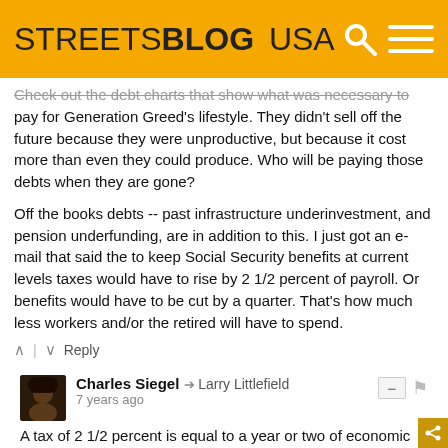STREETSBLOG USA
Check out the debt charts that show what was necessary to pay for Generation Greed's lifestyle. They didn't sell off the future because they were unproductive, but because it cost more than even they could produce. Who will be paying those debts when they are gone?
Off the books debts -- past infrastructure underinvestment, and pension underfunding, are in addition to this. I just got an e-mail that said the to keep Social Security benefits at current levels taxes would have to rise by 2 1/2 percent of payroll. Or benefits would have to be cut by a quarter. That's how much less workers and/or the retired will have to spend.
Reply
Charles Siegel → Larry Littlefield
7 years ago
A tax of 2 1/2 percent is equal to a year or two of economic growth. People won't necessarily have less to spend: they will have to wait an extra year or two before they have more to spend.